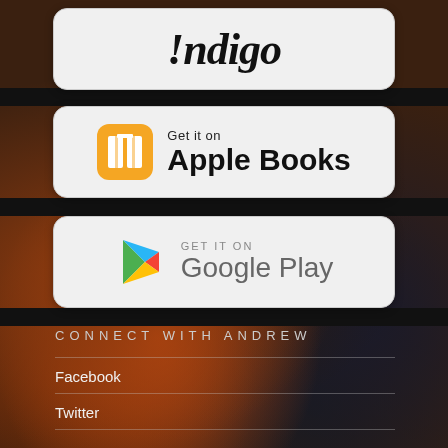[Figure (logo): Indigo store button with stylized italic text showing '!ndigo']
[Figure (logo): Apple Books download button with orange book icon and text 'Get it on Apple Books']
[Figure (logo): Google Play download button with colorful triangle logo and text 'GET IT ON Google Play']
CONNECT WITH ANDREW
Facebook
Twitter